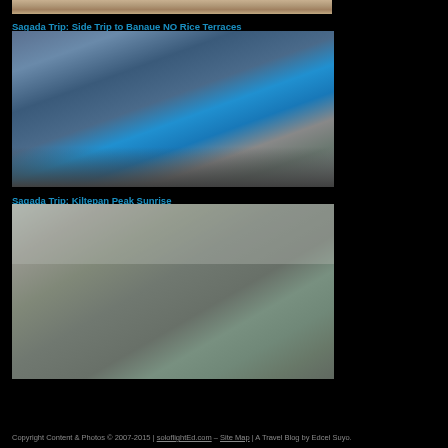[Figure (photo): Partial view of people on a beach, top portion cropped]
Sagada Trip: Side Trip to Banaue NO Rice Terraces
[Figure (photo): A blue jeepney with passengers on the roof in a foggy mountain town street, Banaue Philippines]
Sagada Trip: Kiltepan Peak Sunrise
[Figure (photo): A person standing in foggy forest at Kiltepan Peak with a camera on a tripod, Sagada Philippines]
Copyright Content & Photos © 2007-2015 | soloflightEd.com – Site Map | A Travel Blog by Edcel Suyo.